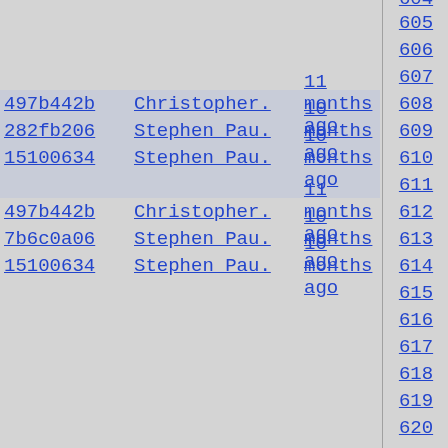| hash | author | time | line |
| --- | --- | --- | --- |
|  |  |  | 604 |
|  |  |  | 605 |
|  |  |  | 606 |
|  |  |  | 607 |
| 497b442b | Christopher. | 11 months ago | 608 |
| 282fb206 | Stephen Pau. | 10 months ago | 609 |
| 15100634 | Stephen Pau. | 10 months ago | 610 |
|  |  |  | 611 |
| 497b442b | Christopher. | 11 months ago | 612 |
| 7b6c0a06 | Stephen Pau. | 10 months ago | 613 |
| 15100634 | Stephen Pau. | 10 months ago | 614 |
|  |  |  | 615 |
|  |  |  | 616 |
|  |  |  | 617 |
|  |  |  | 618 |
|  |  |  | 619 |
|  |  |  | 620 |
|  |  |  | 621 |
|  |  |  | 622 |
|  |  |  | 623 |
|  |  |  | 624 |
|  |  |  | 625 |